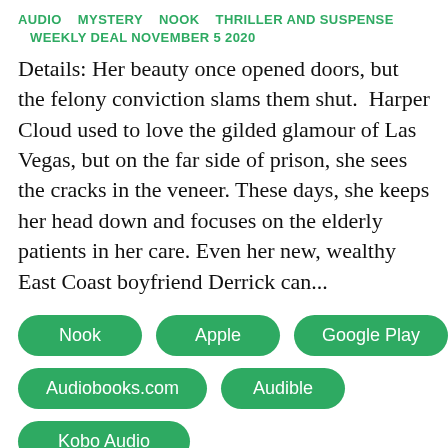AUDIO   MYSTERY   NOOK   THRILLER AND SUSPENSE   WEEKLY DEAL NOVEMBER 5 2020
Details: Her beauty once opened doors, but the felony conviction slams them shut.  Harper Cloud used to love the gilded glamour of Las Vegas, but on the far side of prison, she sees the cracks in the veneer. These days, she keeps her head down and focuses on the elderly patients in her care. Even her new, wealthy East Coast boyfriend Derrick can...
Nook
Apple
Google Play
Audiobooks.com
Audible
Kobo Audio